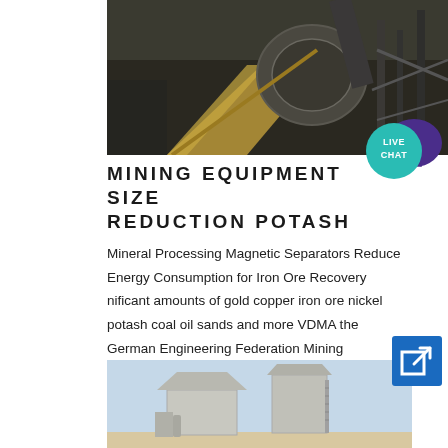[Figure (photo): Industrial mining facility interior showing large machinery, conveyor belt, pipes and metal framework structures]
[Figure (illustration): Live Chat button — teal circular badge with white text LIVE CHAT and a dark purple speech bubble icon]
MINING EQUIPMENT SIZE REDUCTION POTASH
Mineral Processing Magnetic Separators Reduce Energy Consumption for Iron Ore Recovery nificant amounts of gold copper iron ore nickel potash coal oil sands and more VDMA the German Engineering Federation Mining Equipment Association Cost control is benefiting small ...
[Figure (photo): Outdoor industrial mining equipment — two large silo or separator units on a pale blue sky background]
[Figure (illustration): Blue square button with white arrow-in-box icon (external link / navigation)]